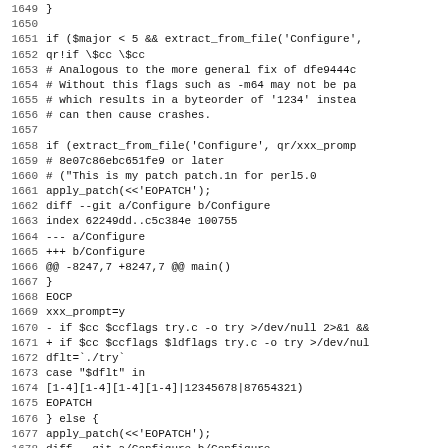Code listing lines 1649–1681, showing a Perl/shell patch script with git diff output
1649: }
1650: (blank)
1651:     if ($major < 5 && extract_from_file('Configure',
1652:                                             qr!if \$cc \$cc
1653:         # Analogous to the more general fix of dfe9444c
1654:         # Without this flags such as -m64 may not be pa
1655:         # which results in a byteorder of '1234' instea
1656:         # can then cause crashes.
1657: (blank)
1658:         if (extract_from_file('Configure', qr/xxx_promp
1659:             # 8e07c86ebc651fe9 or later
1660:             # ("This is my patch  patch.1n  for perl5.0
1661:             apply_patch(<<'EOPATCH');
1662: diff --git a/Configure b/Configure
1663: index 62249dd..c5c384e 100755
1664: --- a/Configure
1665: +++ b/Configure
1666: @@ -8247,7 +8247,7 @@ main()
1667:  }
1668:  EOCP
1669:          xxx_prompt=y
1670: -        if $cc $ccflags try.c -o try >/dev/null 2>&1 &&
1671: +        if $cc $ccflags $ldflags try.c -o try >/dev/nul
1672:                  dflt=`./try`
1673:                  case "$dflt" in
1674:                  [1-4][1-4][1-4][1-4]|12345678|87654321)
1675: EOPATCH
1676:         } else {
1677:             apply_patch(<<'EOPATCH');
1678: diff --git a/Configure b/Configure
1679: index 53649d5..f1cd64a 100755
1680: --- a/Configure
1681: +++ b/Configure